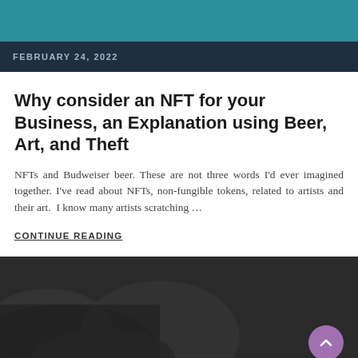[Figure (other): Teal decorative header bar]
FEBRUARY 24, 2022
Why consider an NFT for your Business, an Explanation using Beer, Art, and Theft
NFTs and Budweiser beer. These are not three words I'd ever imagined together. I've read about NFTs, non-fungible tokens, related to artists and their art.  I know many artists scratching …
CONTINUE READING
[Figure (photo): Dark grayscale background image at bottom of page with a scroll-to-top button (purple circle with upward chevron) in the bottom right]